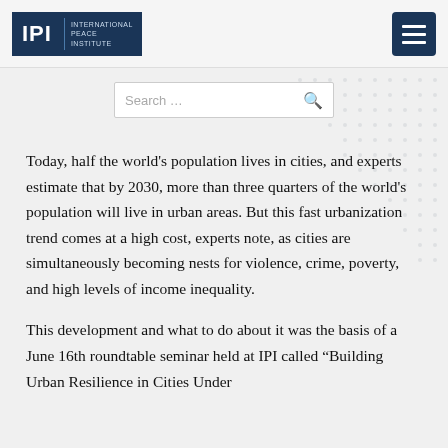[Figure (logo): IPI International Peace Institute logo — white text on dark navy blue background]
[Figure (other): Hamburger menu button, dark navy blue square with three white horizontal lines]
[Figure (other): Search bar input field with placeholder text 'Search ...' and magnifying glass icon]
Today, half the world's population lives in cities, and experts estimate that by 2030, more than three quarters of the world's population will live in urban areas. But this fast urbanization trend comes at a high cost, experts note, as cities are simultaneously becoming nests for violence, crime, poverty, and high levels of income inequality.
This development and what to do about it was the basis of a June 16th roundtable seminar held at IPI called “Building Urban Resilience in Cities Under